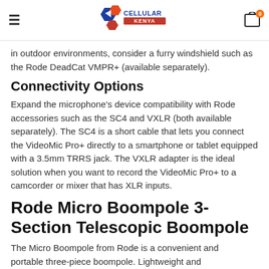Cellular Kenya – navigation header with logo and cart
in outdoor environments, consider a furry windshield such as the Rode DeadCat VMPR+ (available separately).
Connectivity Options
Expand the microphone's device compatibility with Rode accessories such as the SC4 and VXLR (both available separately). The SC4 is a short cable that lets you connect the VideoMic Pro+ directly to a smartphone or tablet equipped with a 3.5mm TRRS jack. The VXLR adapter is the ideal solution when you want to record the VideoMic Pro+ to a camcorder or mixer that has XLR inputs.
Rode Micro Boompole 3-Section Telescopic Boompole
The Micro Boompole from Rode is a convenient and portable three-piece boompole. Lightweight and precision balanced, the anodized aluminum pole features intuitive twist locks for smooth